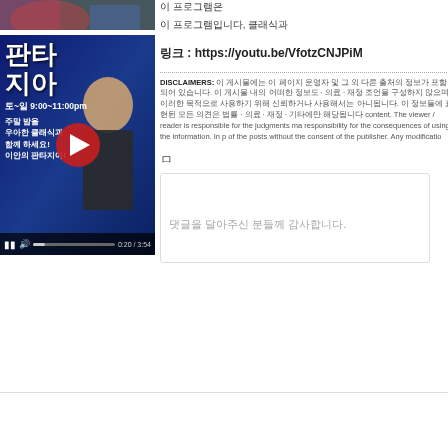[Figure (illustration): Top partial image with colorful decorative background]
[Figure (screenshot): Video thumbnail for a Korean classical music radio program '판타지아' (Fantasia) featuring a man in a suit with musical instruments. Shows play button overlay, progress bar, and time 0:20/3:54. Text: 판타지아, 토~일 9:00~11:00pm, 주말 밤을 우아한 클래식과 함께 하세요! 이안의 판타지아!]
이 프로그램은
이 프로그램입니다, 클래식과
링크 : https://youtu.be/VfotzCNJPiM
DISCLAIMERS: 이 게시물에는 이 페이지 운영자 및 그 외 다른 출처의 정보가 포함되어 있습니다. 이 게시물 내의 어떠한 정보도 전문적인 법律 · 의료 · 재정 조언을 구성하지 않으며 이러한 목적으로 사용하기 위해 신뢰하거나 사용해서는 아니됩니다. 이 정보들에 표현된 모든 의견은 법률 · 의료 · 재정 · 기타에만 해당됩니다 content. The viewer / reader is responsible for the judgments made on the content. The publisher accepts no responsibility for the consequences of using the information. In p of the posts without the consent of the publisher. Any modificatio
ㅁ
댓글을 달아주신 분들께 감사합니다.